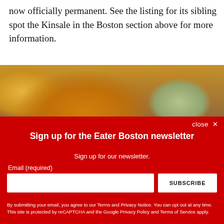now officially permanent. See the listing for its sibling spot the Kinsale in the Boston section above for more information.
[Figure (photo): Close-up photo of a golden-brown baked bun or bread roll with a blurred restaurant kitchen background and green garnish visible on the right side.]
close ✕
Sign up for the Eater Boston newsletter
Sign up for our newsletter.
Email (required)
SUBSCRIBE
By submitting your email, you agree to our Terms and Privacy Notice. You can opt out at any time. This site is protected by reCAPTCHA and the Google Privacy Policy and Terms of Service apply.